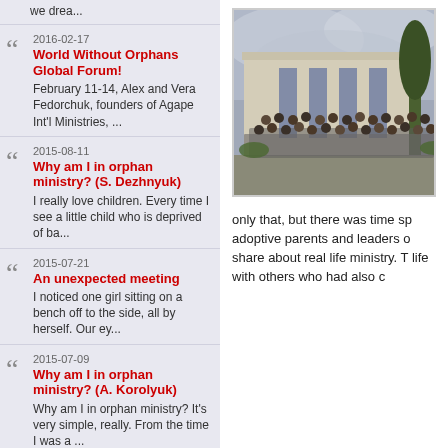we drea...
2016-02-17 World Without Orphans Global Forum! February 11-14, Alex and Vera Fedorchuk, founders of Agape Int'l Ministries, ...
2015-08-11 Why am I in orphan ministry? (S. Dezhnyuk) I really love children. Every time I see a little child who is deprived of ba...
2015-07-21 An unexpected meeting I noticed one girl sitting on a bench off to the side, all by herself. Our ey...
2015-07-09 Why am I in orphan ministry? (A. Korolyuk) Why am I in orphan ministry? It's very simple, really. From the time I was a ...
[Figure (photo): Group photo of people standing in front of a large building with tall windows and a tree, under cloudy sky]
only that, but there was time sp adoptive parents and leaders o share about real life ministry. T life with others who had also c